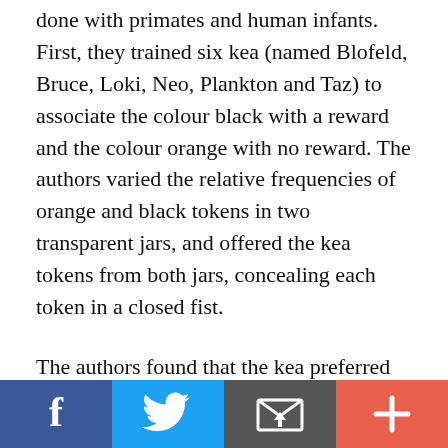done with primates and human infants. First, they trained six kea (named Blofeld, Bruce, Loki, Neo, Plankton and Taz) to associate the colour black with a reward and the colour orange with no reward. The authors varied the relative frequencies of orange and black tokens in two transparent jars, and offered the kea tokens from both jars, concealing each token in a closed fist.
The authors found that the kea preferred tokens from jars with a higher relative, but not necessarily absolute, frequency of rewarding objects. When a horizontal barrier was placed in the jar and changed the fraction of rewarding tokens accessible above the barrier, the kea detected this physical constraint and selected the jar with the highest probability of accessible rewarding
[Figure (other): Social sharing bar with four buttons: Facebook (blue, f icon), Twitter (light blue, bird icon), Email/share (dark grey, envelope icon), and Plus/more (red-orange, + icon)]